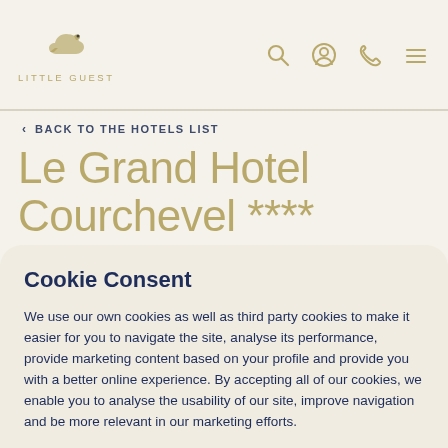LITTLE GUEST
‹ BACK TO THE HOTELS LIST
Le Grand Hotel Courchevel ****
Cookie Consent
We use our own cookies as well as third party cookies to make it easier for you to navigate the site, analyse its performance, provide marketing content based on your profile and provide you with a better online experience. By accepting all of our cookies, we enable you to analyse the usability of our site, improve navigation and be more relevant in our marketing efforts.
Cookies Settings | Accept All Cookies